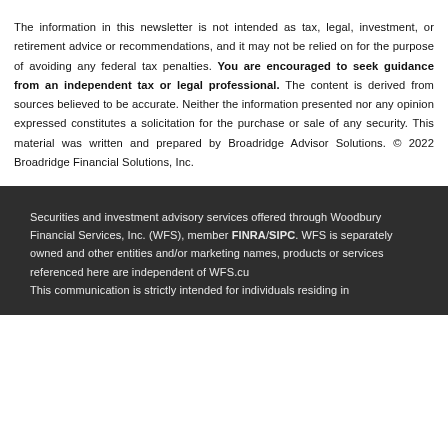The information in this newsletter is not intended as tax, legal, investment, or retirement advice or recommendations, and it may not be relied on for the purpose of avoiding any federal tax penalties. You are encouraged to seek guidance from an independent tax or legal professional. The content is derived from sources believed to be accurate. Neither the information presented nor any opinion expressed constitutes a solicitation for the purchase or sale of any security. This material was written and prepared by Broadridge Advisor Solutions. © 2022 Broadridge Financial Solutions, Inc.
Securities and investment advisory services offered through Woodbury Financial Services, Inc. (WFS), member FINRA/SIPC. WFS is separately owned and other entities and/or marketing names, products or services referenced here are independent of WFS.cu
This communication is strictly intended for individuals residing in